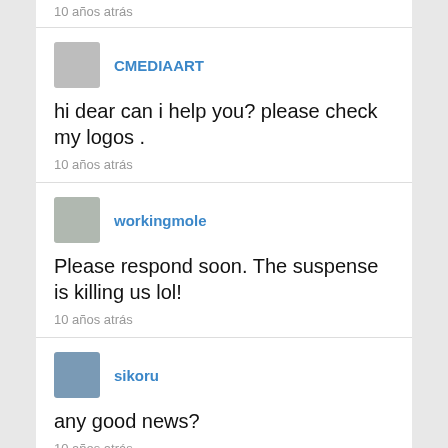10 años atrás
CMEDIAART
hi dear can i help you? please check my logos .
10 años atrás
workingmole
Please respond soon. The suspense is killing us lol!
10 años atrás
sikoru
any good news?
10 años atrás